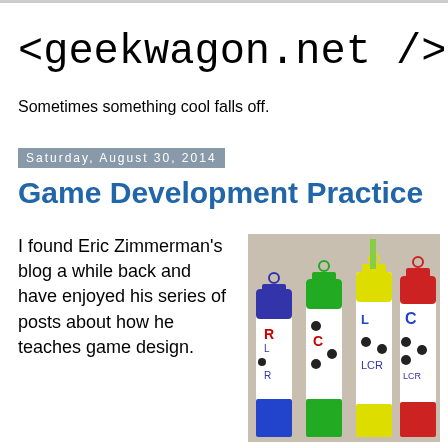<geekwagon.net />
Sometimes something cool falls off.
Saturday, August 30, 2014
Game Development Practice
I found Eric Zimmerman's blog a while back and have enjoyed his series of posts about how he teaches game design.
[Figure (photo): Four colorful LCR dice tubes with purple, green, yellow, and red caps, each containing dice with letters L, C, R and dots visible]